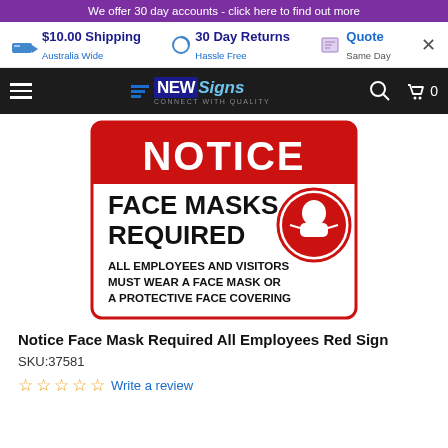We offer 30 day accounts - click here to find out more
$10.00 Shipping Australia Wide | 30 Day Returns Hassle Free | Quote Same Day
[Figure (screenshot): NewSigns navigation bar with hamburger menu, logo, search and cart icons]
[Figure (photo): Notice Face Mask Required sign - red header with NOTICE in white bold text, white body with FACE MASKS REQUIRED in large black bold text, face mask icon in red circle, and subtext ALL EMPLOYEES AND VISITORS MUST WEAR A FACE MASK OR A PROTECTIVE FACE COVERING]
Notice Face Mask Required All Employees Red Sign
SKU:37581
☆☆☆☆☆ Write a review